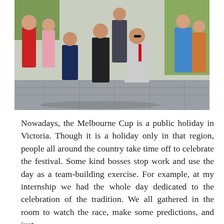[Figure (photo): Group photo of men and women dressed in formal attire at what appears to be the Melbourne Cup event. Several people are posing outdoors, some crouching, with flowers and pavement visible in the background.]
Nowadays, the Melbourne Cup is a public holiday in Victoria. Though it is a holiday only in that region, people all around the country take time off to celebrate the festival. Some kind bosses stop work and use the day as a team-building exercise. For example, at my internship we had the whole day dedicated to the celebration of the tradition. We all gathered in the room to watch the race, make some predictions, and just